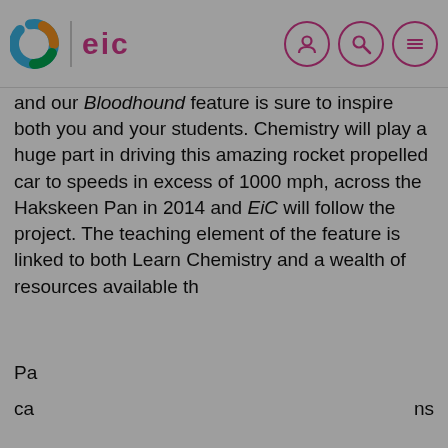C | eic
and our Bloodhound feature is sure to inspire both you and your students. Chemistry will play a huge part in driving this amazing rocket propelled car to speeds in excess of 1000 mph, across the Hakskeen Pan in 2014 and EiC will follow the project. The teaching element of the feature is linked to both Learn Chemistry and a wealth of resources available th[rough…]
Pa[…] ca[…] ch[…]
An[…] sh[…] br[…] ns y
This website uses cookies and similar technologies to deliver its services, to analyse and improve performance and to provide personalised content and advertising. Information about your use of this website will be shared with Google and other third parties. Read our privacy policy.
OK